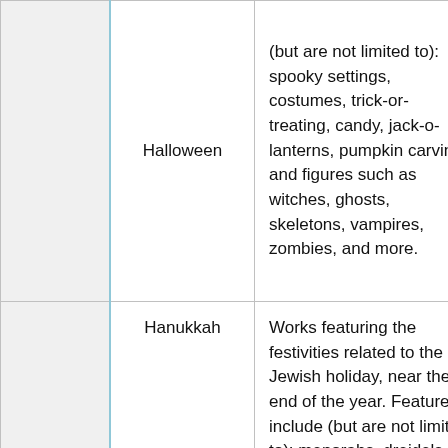|  | Holiday | Description | Examples |
| --- | --- | --- | --- |
|  | Halloween | (but are not limited to): spooky settings, costumes, trick-or-treating, candy, jack-o-lanterns, pumpkin carving, and figures such as witches, ghosts, skeletons, vampires, zombies, and more. | Ang...
Hall...
HD... |
|  | Hanukkah | Works featuring the festivities related to the Jewish holiday, near the end of the year. Features include (but are not limited to): menorahs, dreidels, gelt, and Hanukkah | The...
Han...
Drei... |